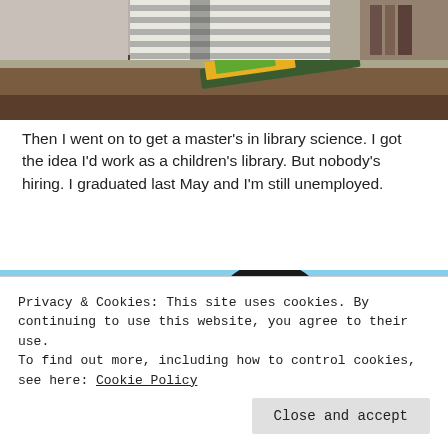[Figure (screenshot): Screenshot from The Sims video game showing a character (from neck/torso down) wearing a striped cardigan, sitting at a dark wooden desk with a colorful book on it.]
Then I went on to get a master's in library science. I got the idea I'd work as a children's library. But nobody's hiring. I graduated last May and I'm still unemployed.
[Figure (screenshot): Screenshot from The Sims video game showing a Sim character with long black hair in a ponytail, wearing glasses, viewed from behind/side profile, with colorful trees and a blue sky visible through a window in the background.]
Privacy & Cookies: This site uses cookies. By continuing to use this website, you agree to their use.
To find out more, including how to control cookies, see here: Cookie Policy